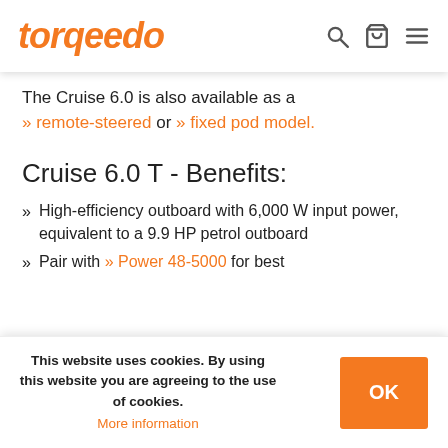Torqeedo [logo]
The Cruise 6.0 is also available as a » remote-steered or » fixed pod model.
Cruise 6.0 T - Benefits:
High-efficiency outboard with 6,000 W input power, equivalent to a 9.9 HP petrol outboard
Pair with » Power 48-5000 for best
This website uses cookies. By using this website you are agreeing to the use of cookies. More information [OK button]